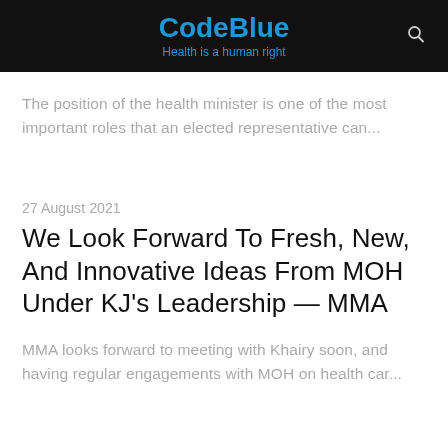CodeBlue — Health is a human right
The position of the health minister is one of the most important roles that an elected representative can...
27 August 2021
We Look Forward To Fresh, New, And Innovative Ideas From MOH Under KJ's Leadership — MMA
MMA looks forward to meeting with Khairy soon, and having regular engagements with MOH on health car...